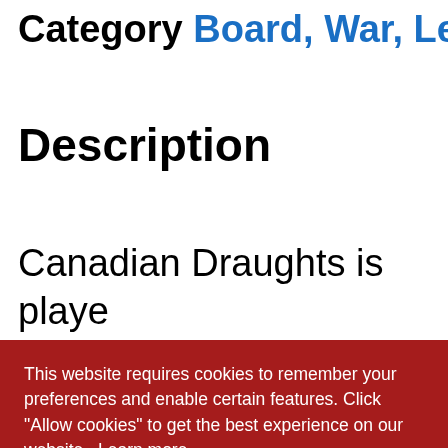Category Board, War, Le…
Description
Canadian Draughts is played, popular in Canada (particu… and. …settlers… fore… 30 pieces per player. Other… International Draughts
This website requires cookies to remember your preferences and enable certain features. Click "Allow cookies" to get the best experience on our website. Learn more
Decline    Allow cookies